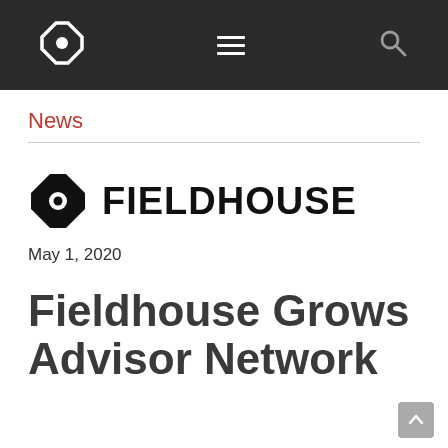Fieldhouse navigation bar with logo, menu, and search icons
News
[Figure (logo): Fieldhouse logo: octagon icon followed by FIELDHOUSE wordmark in bold black]
May 1, 2020
Fieldhouse Grows Advisor Network